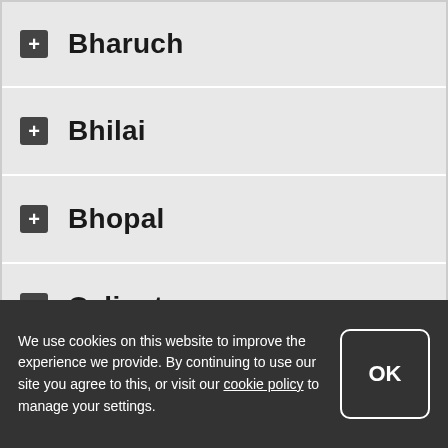Bharuch
Bhilai
Bhopal
Calicut
Chandigarh
Chennai
We use cookies on this website to improve the experience we provide. By continuing to use our site you agree to this, or visit our cookie policy to manage your settings.